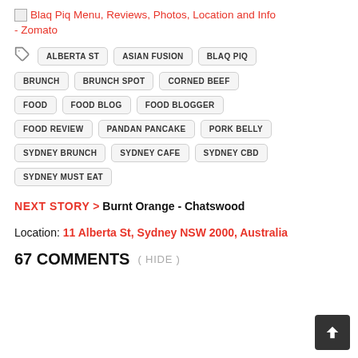Blaq Piq Menu, Reviews, Photos, Location and Info - Zomato
ALBERTA ST
ASIAN FUSION
BLAQ PIQ
BRUNCH
BRUNCH SPOT
CORNED BEEF
FOOD
FOOD BLOG
FOOD BLOGGER
FOOD REVIEW
PANDAN PANCAKE
PORK BELLY
SYDNEY BRUNCH
SYDNEY CAFE
SYDNEY CBD
SYDNEY MUST EAT
NEXT STORY > Burnt Orange - Chatswood
Location: 11 Alberta St, Sydney NSW 2000, Australia
67 COMMENTS ( HIDE )